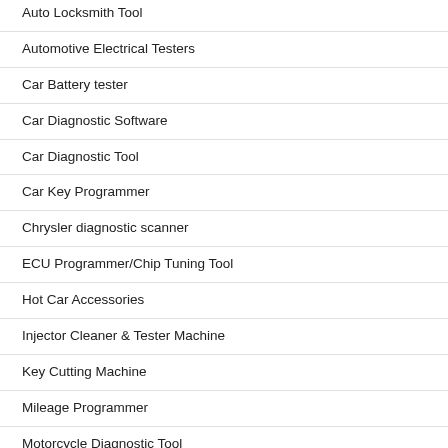Auto Locksmith Tool
Automotive Electrical Testers
Car Battery tester
Car Diagnostic Software
Car Diagnostic Tool
Car Key Programmer
Chrysler diagnostic scanner
ECU Programmer/Chip Tuning Tool
Hot Car Accessories
Injector Cleaner & Tester Machine
Key Cutting Machine
Mileage Programmer
Motorcycle Diagnostic Tool
Motorcycle Key Programmer